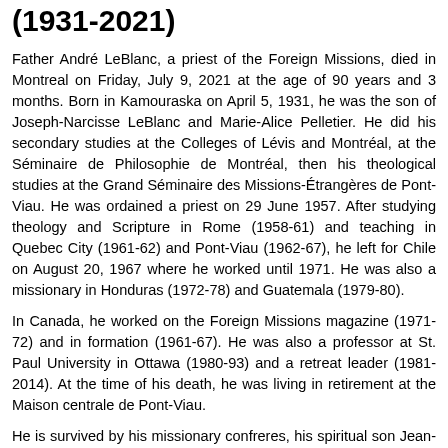(1931-2021)
Father André LeBlanc, a priest of the Foreign Missions, died in Montreal on Friday, July 9, 2021 at the age of 90 years and 3 months. Born in Kamouraska on April 5, 1931, he was the son of Joseph-Narcisse LeBlanc and Marie-Alice Pelletier. He did his secondary studies at the Colleges of Lévis and Montréal, at the Séminaire de Philosophie de Montréal, then his theological studies at the Grand Séminaire des Missions-Étrangères de Pont-Viau. He was ordained a priest on 29 June 1957. After studying theology and Scripture in Rome (1958-61) and teaching in Quebec City (1961-62) and Pont-Viau (1962-67), he left for Chile on August 20, 1967 where he worked until 1971. He was also a missionary in Honduras (1972-78) and Guatemala (1979-80).
In Canada, he worked on the Foreign Missions magazine (1971-72) and in formation (1961-67). He was also a professor at St. Paul University in Ottawa (1980-93) and a retreat leader (1981-2014). At the time of his death, he was living in retirement at the Maison centrale de Pont-Viau.
He is survived by his missionary confreres, his spiritual son Jean-Frédéric Beauchamp, his sisters-in-law Claire Michaud and Thérèse Langelier, as well as nephews, nieces and many other relatives and friends.